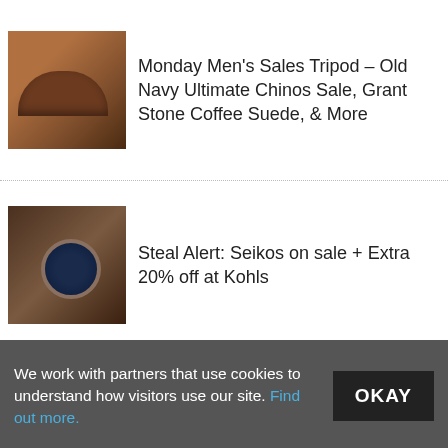Monday Men's Sales Tripod – Old Navy Ultimate Chinos Sale, Grant Stone Coffee Suede, & More
Steal Alert: Seikos on sale + Extra 20% off at Kohls
Steal(ish) alert: 15% off some normally excluded stuff at J. Crew for rewards members
Style Scenario: Black and Gray. Cooler than you'd think.
Saddleback Leather 25% off, Nordy Rack
We work with partners that use cookies to understand how visitors use our site. Find out more.